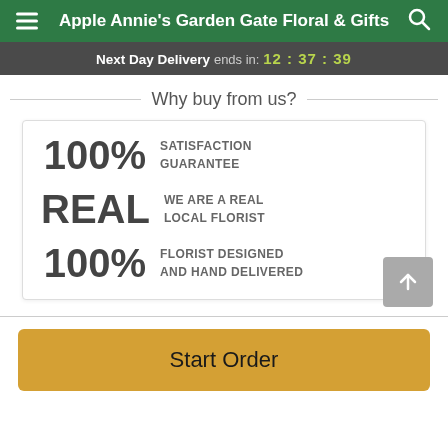Apple Annie's Garden Gate Floral & Gifts
Next Day Delivery ends in: 12:37:39
Why buy from us?
100% SATISFACTION GUARANTEE
REAL WE ARE A REAL LOCAL FLORIST
100% FLORIST DESIGNED AND HAND DELIVERED
Start Order